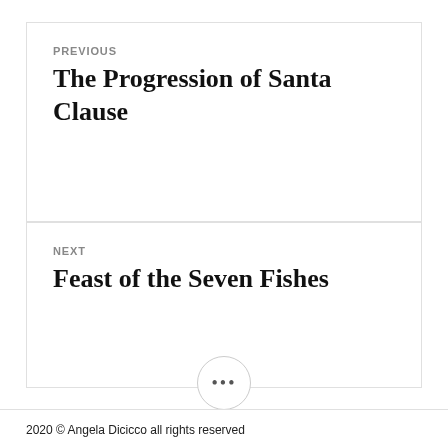PREVIOUS
The Progression of Santa Clause
NEXT
Feast of the Seven Fishes
•••
2020 © Angela Dicicco all rights reserved